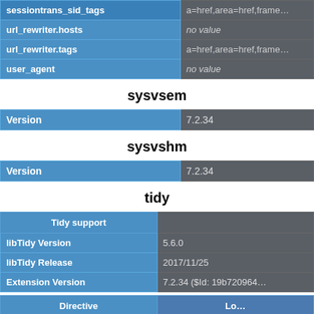| url_rewriter.hosts | no value |
| url_rewriter.tags | a=href,area=href,frame… |
| user_agent | no value |
sysvsem
| Version | 7.2.34 |
sysvshm
| Version | 7.2.34 |
tidy
| Tidy support |  |
| --- | --- |
| libTidy Version | 5.6.0 |
| libTidy Release | 2017/11/25 |
| Extension Version | 7.2.34 ($Id: 19b720964… |
| Directive | Lo… |
| --- | --- |
| tidy.clean_output | no value |